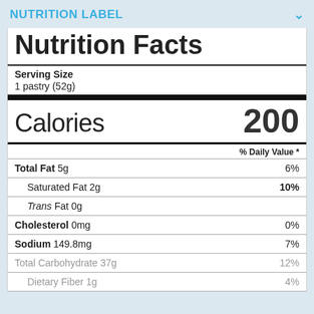NUTRITION LABEL
Nutrition Facts
Serving Size
1 pastry (52g)
Calories 200
% Daily Value *
Total Fat 5g 6%
Saturated Fat 2g 10%
Trans Fat 0g
Cholesterol 0mg 0%
Sodium 149.8mg 7%
Total Carbohydrate 37g 12%
Dietary Fiber 1g 4%